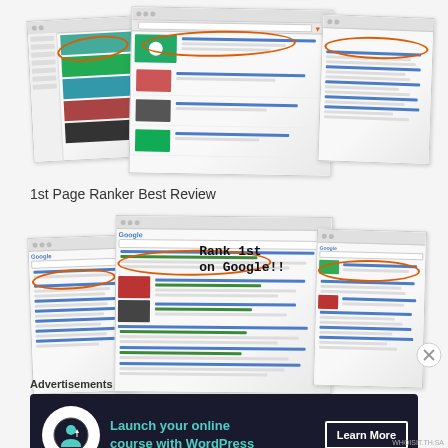[Figure (screenshot): Three overlapping browser/YouTube screenshot thumbnails showing video listings and search results with orange circles highlighting certain results]
1st Page Ranker Best Review
[Figure (screenshot): Three overlapping Google search result screenshots with handwritten annotation 'Rank 1st on Google!!' and orange oval circles highlighting top search rankings]
Advertisements
[Figure (infographic): Dark advertisement banner: icon of person with upward arrow, text 'Launch your online course with WordPress', button 'Learn More']